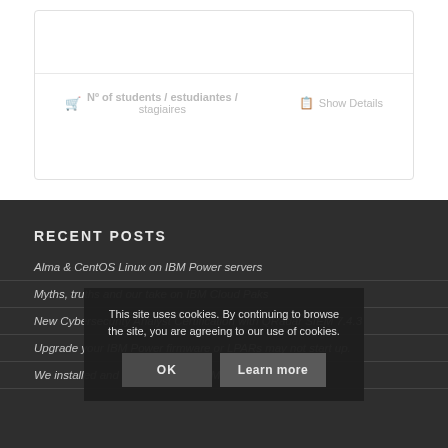Nº of students / estudiantes / stagiaires
Show Details
RECENT POSTS
Alma & CentOS Linux on IBM Power servers
Myths, truths and our take on IBM Cloud Paks
New Cybersecurity Analyst Certification with QRadar SIEM 7.4.3
Upgrade your IBM Power firmware or LPARs may not start up.
We installed and tested the new IBM AIX 7.3
This site uses cookies. By continuing to browse the site, you are agreeing to our use of cookies.